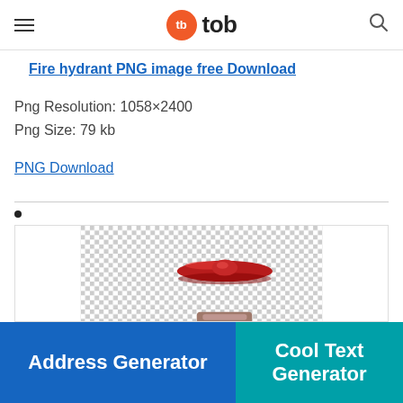tb tob
Fire hydrant PNG image free Download
Png Resolution: 1058×2400
Png Size: 79 kb
PNG Download
•
[Figure (photo): Top portion of a red fire hydrant on a transparent (checker) background]
Address Generator
Cool Text Generator